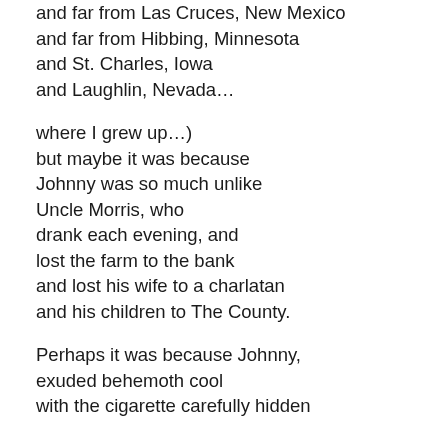and far from Las Cruces, New Mexico
and far from Hibbing, Minnesota
and St. Charles, Iowa
and Laughlin, Nevada…
where I grew up…)
but maybe it was because
Johnny was so much unlike
Uncle Morris, who
drank each evening, and
lost the farm to the bank
and lost his wife to a charlatan
and his children to The County.
Perhaps it was because Johnny,
exuded behemoth cool
with the cigarette carefully hidden
because the clock...